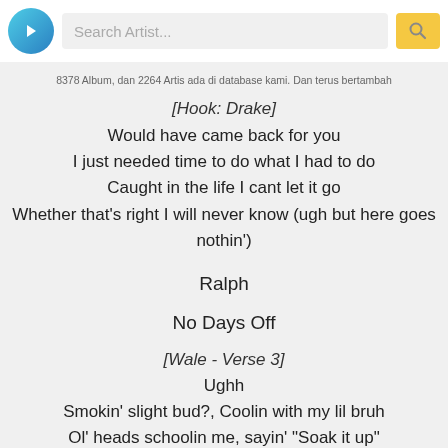Search Artist...
8378 Album, dan 2264 Artis ada di database kami. Dan terus bertambah
[Hook: Drake]
Would have came back for you
I just needed time to do what I had to do
Caught in the life I cant let it go
Whether that's right I will never know (ugh but here goes nothin')
Ralph
No Days Off
[Wale - Verse 3]
Ughh
Smokin' slight bud?, Coolin with my lil bruh
Ol' heads schoolin me, sayin' "Soak it up"
A lot of niggas in my position don't know as much
A lot of women from conversation could fall in love
And that's a scary thing, I try to duck em good
Cause innocent women'll stalk you if you fuck em good
I'm sayin' that I know, revealing them most
My God come before this bread,